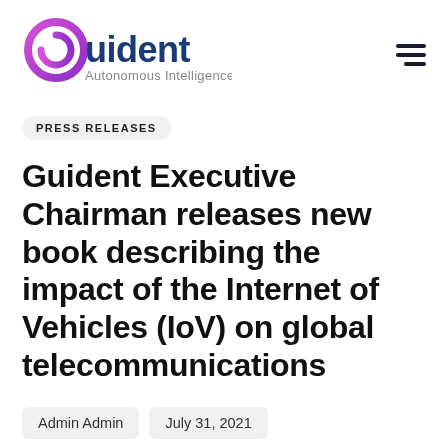[Figure (logo): Guident Autonomous Intelligence logo with stylized 'g' in pink/purple and blue text]
PRESS RELEASES
Guident Executive Chairman releases new book describing the impact of the Internet of Vehicles (IoV) on global telecommunications
Admin Admin
July 31, 2021